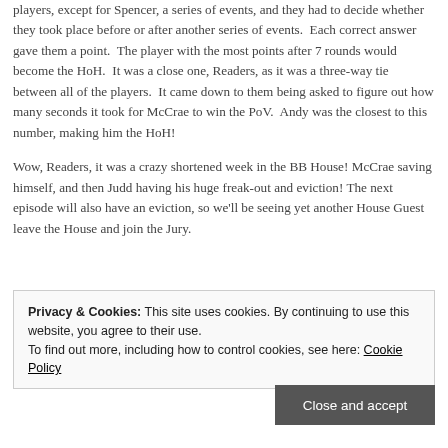players, except for Spencer, a series of events, and they had to decide whether they took place before or after another series of events. Each correct answer gave them a point. The player with the most points after 7 rounds would become the HoH. It was a close one, Readers, as it was a three-way tie between all of the players. It came down to them being asked to figure out how many seconds it took for McCrae to win the PoV. Andy was the closest to this number, making him the HoH!
Wow, Readers, it was a crazy shortened week in the BB House! McCrae saving himself, and then Judd having his huge freak-out and eviction! The next episode will also have an eviction, so we'll be seeing yet another House Guest leave the House and join the Jury.
Privacy & Cookies: This site uses cookies. By continuing to use this website, you agree to their use.
To find out more, including how to control cookies, see here: Cookie Policy